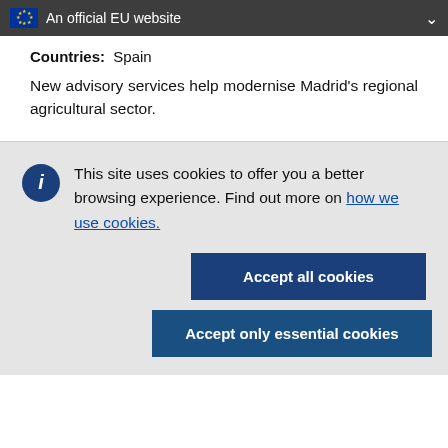An official EU website
Countries:  Spain
New advisory services help modernise Madrid's regional agricultural sector.
This site uses cookies to offer you a better browsing experience. Find out more on how we use cookies.
Accept all cookies
Accept only essential cookies